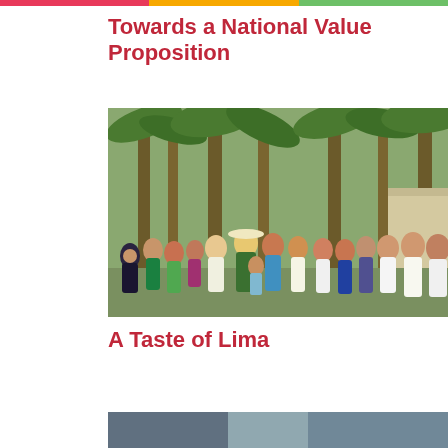Towards a National Value Proposition
[Figure (photo): Group photo of approximately 20 people standing outdoors with palm trees in background]
A Taste of Lima
[Figure (photo): Partial view of a second photo, cropped at bottom of page]